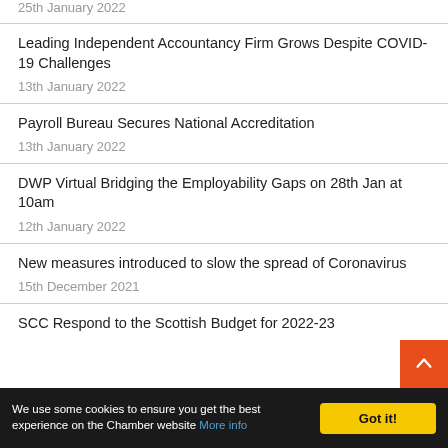25th January 2022
Leading Independent Accountancy Firm Grows Despite COVID-19 Challenges
13th January 2022
Payroll Bureau Secures National Accreditation
13th January 2022
DWP Virtual Bridging the Employability Gaps on 28th Jan at 10am
12th January 2022
New measures introduced to slow the spread of Coronavirus
15th December 2021
SCC Respond to the Scottish Budget for 2022-23
We use some cookies to ensure you get the best experience on the Chamber website More info